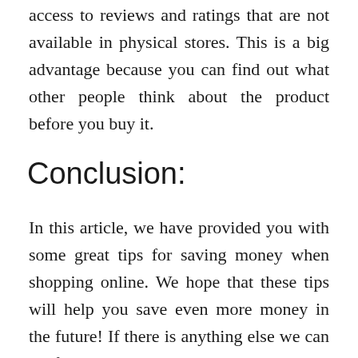access to reviews and ratings that are not available in physical stores. This is a big advantage because you can find out what other people think about the product before you buy it.
Conclusion:
In this article, we have provided you with some great tips for saving money when shopping online. We hope that these tips will help you save even more money in the future! If there is anything else we can do for you, please let us know by liking our page today.